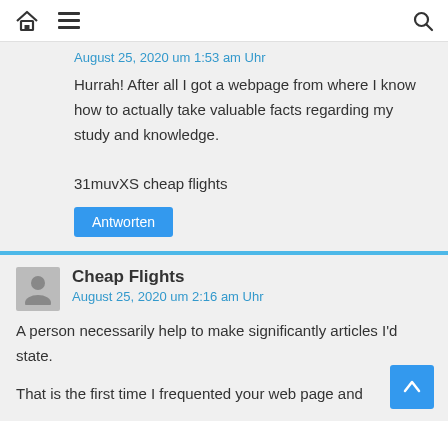Home menu search navigation bar
August 25, 2020 um 1:53 am Uhr
Hurrah! After all I got a webpage from where I know how to actually take valuable facts regarding my study and knowledge.

31muvXS cheap flights
Antworten
Cheap Flights
August 25, 2020 um 2:16 am Uhr
A person necessarily help to make significantly articles I'd state.
That is the first time I frequented your web page and